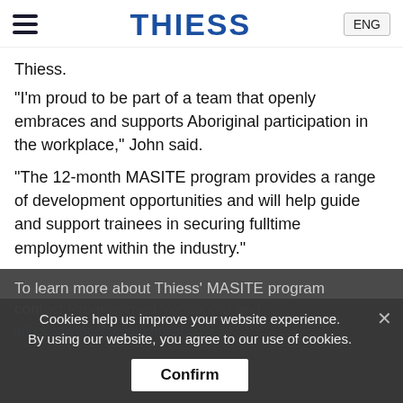THIESS | ENG
Thiess.
“I’m proud to be part of a team that openly embraces and supports Aboriginal participation in the workplace,” John said.
“The 12-month MASITE program provides a range of development opportunities and will help guide and support trainees in securing fulltime employment within the industry.”
To learn more about Thiess’ MASITE program contact Programmed Vocational and info.singleton@programmed.com.au.
Cookies help us improve your website experience. By using our website, you agree to our use of cookies.